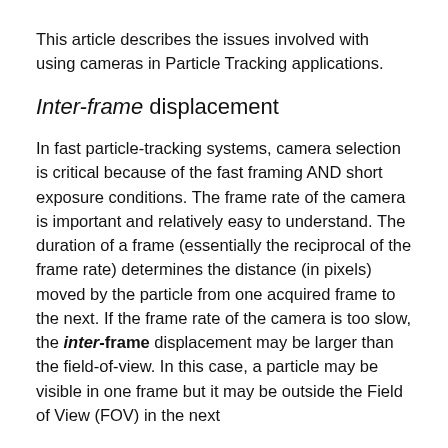This article describes the issues involved with using cameras in Particle Tracking applications.
Inter-frame displacement
In fast particle-tracking systems, camera selection is critical because of the fast framing AND short exposure conditions. The frame rate of the camera is important and relatively easy to understand. The duration of a frame (essentially the reciprocal of the frame rate) determines the distance (in pixels) moved by the particle from one acquired frame to the next. If the frame rate of the camera is too slow, the inter-frame displacement may be larger than the field-of-view. In this case, a particle may be visible in one frame but it may be outside the Field of View (FOV) in the next